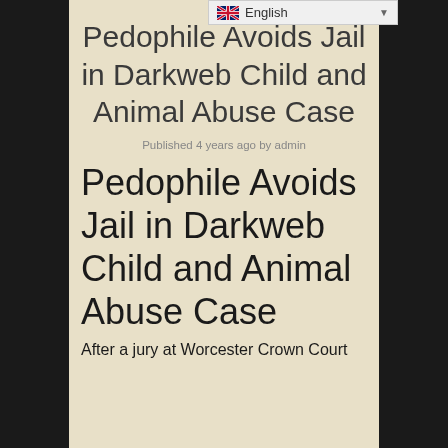English
Pedophile Avoids Jail in Darkweb Child and Animal Abuse Case
Published 4 years ago by admin
Pedophile Avoids Jail in Darkweb Child and Animal Abuse Case
After a jury at Worcester Crown Court